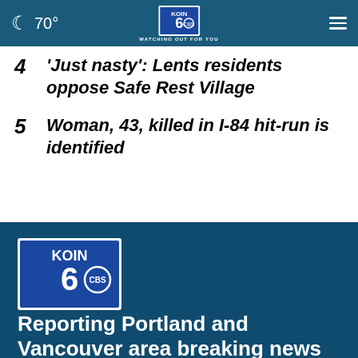70° KOIN 6 CBS WATCHING OUT FOR YOU
4 'Just nasty': Lents residents oppose Safe Rest Village
5 Woman, 43, killed in I-84 hit-run is identified
[Figure (logo): KOIN 6 CBS logo with text WATCHING OUT FOR YOU on dark blue background]
Reporting Portland and Vancouver area breaking news and weather stories to make